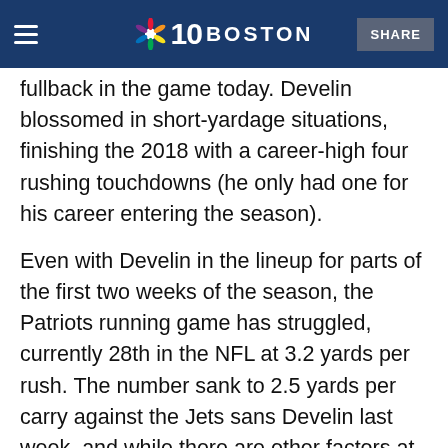NBC 10 Boston — SHARE
fullback in the game today. Develin blossomed in short-yardage situations, finishing the 2018 with a career-high four rushing touchdowns (he only had one for his career entering the season).
Even with Develin in the lineup for parts of the first two weeks of the season, the Patriots running game has struggled, currently 28th in the NFL at 3.2 yards per rush. The number sank to 2.5 yards per carry against the Jets sans Develin last week, and while there are other factors at play, it can't go unnoticed that sophomore Sony Michel has rushed for only 108 yards on 45 carries through three games.
Fullback Jakob Johnson is an incredible story — Bill Belichick said earlier this week he started out as the 91st person on a 90-man roster in the preseason —but even with his activation to the 53-man roster, it's clear he's still a bit